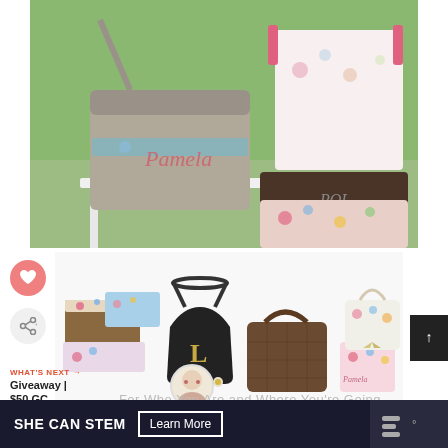[Figure (photo): Personalized handbags and accessories displayed on a white chair against a green outdoor background. Includes a taupe crossbody bag with name 'Pamela', a pink floral drawstring bag, a brown clutch with 'POL' initials, and colorful floral patterns.]
[Figure (photo): Collection of various personalized handbags and accessories including floral print bags, a black handbag with 'L' monogram, brown quilted bag, small floral tote, and glittery bag arranged together.]
For Who You Are and Where You're Going
WHAT'S NEXT →
Giveaway | $50 GC...
[Figure (photo): Small circular avatar image with colorful illustration]
SHE CAN STEM
Learn More